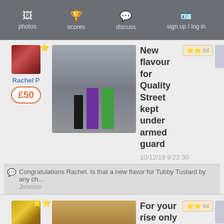photos  scores  discuss  sign up / log in
Rachel P
£50
New flavour for Quality Street kept under armed guard
10/12/19 9:22:30
lol
Congratulations Rachel. Is that a new flavor for Tubby Tustard by any ch... Johnson
Welsh Rarebit
£50
For your rise only
25/11/19 8:00:08
lol
Thanks everyone for the comments and votes. November has been a v... winning 5 times on the lottery (grand total of £67.60!) and now on capt... Rarebit
Oh Jeeezus, that was a mi...